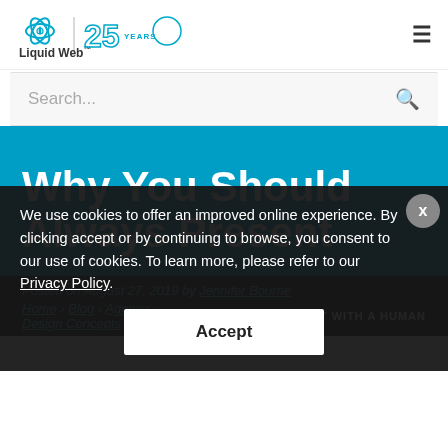[Figure (logo): Liquid Web logo with atom icon and '25 Years' anniversary text in teal/blue]
Search...
Why You Should Always Present
We use cookies to offer an improved online experience. By clicking accept or by continuing to browse, you consent to our use of cookies. To learn more, please refer to our Privacy Policy.
Accept
Posted on August 27, 2019 by Jennifer Bourne
Home > Blog > Agency > Design Concepts
CHAT WITH A HUMAN